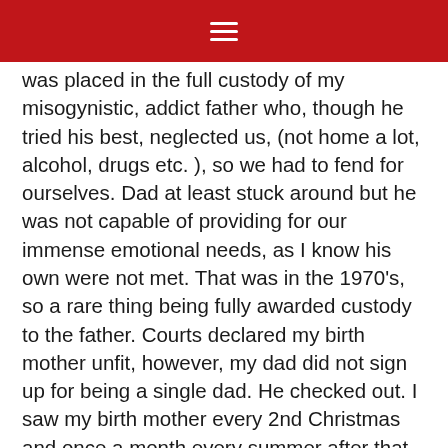☰
was placed in the full custody of my misogynistic, addict father who, though he tried his best, neglected us, (not home a lot, alcohol, drugs etc. ), so we had to fend for ourselves.  Dad at least stuck around but he was not capable of providing for our immense emotional needs, as I know his own were not met.  That was in the 1970's, so a rare thing being fully awarded custody to the father.  Courts declared my birth mother unfit, however, my dad did not sign up for being a single dad.  He checked out.  I saw my birth mother every 2nd Christmas and once a month every summer after that.

Growing up, my little brother was favoured and was the golden child, but he has since fallen from